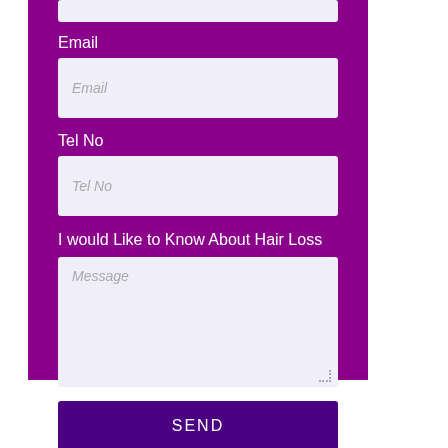Email
[Figure (screenshot): Email input field with placeholder text 'Email']
Tel No
[Figure (screenshot): Tel No input field with placeholder text 'Tel No']
I would Like to Know About Hair Loss
[Figure (screenshot): Message textarea with placeholder text 'Message']
SEND